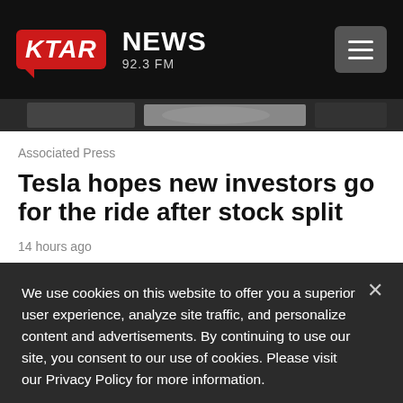KTAR NEWS 92.3 FM
[Figure (photo): Partial image strip visible below header, showing a car (Tesla related)]
Associated Press
Tesla hopes new investors go for the ride after stock split
14 hours ago
We use cookies on this website to offer you a superior user experience, analyze site traffic, and personalize content and advertisements. By continuing to use our site, you consent to our use of cookies. Please visit our Privacy Policy for more information.
Accept Cookies